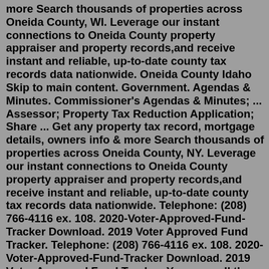more Search thousands of properties across Oneida County, WI. Leverage our instant connections to Oneida County property appraiser and property records,and receive instant and reliable, up-to-date county tax records data nationwide. Oneida County Idaho Skip to main content. Government. Agendas & Minutes. Commissioner's Agendas & Minutes; ... Assessor; Property Tax Reduction Application; Share ... Get any property tax record, mortgage details, owners info & more Search thousands of properties across Oneida County, NY. Leverage our instant connections to Oneida County property appraiser and property records,and receive instant and reliable, up-to-date county tax records data nationwide. Telephone: (208) 766-4116 ex. 108. 2020-Voter-Approved-Fund-Tracker Download. 2019 Voter Approved Fund Tracker. Telephone: (208) 766-4116 ex. 108. 2020-Voter-Approved-Fund-Tracker Download. 2019 Voter Approved Fund Tracker. You can call the Oneida County Tax Assessor's Office for assistance at 715-369-6254. Remember to have your